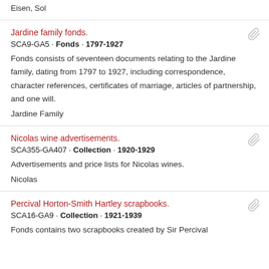Eisen, Sol
Jardine family fonds.
SCA9-GA5 · Fonds · 1797-1927
Fonds consists of seventeen documents relating to the Jardine family, dating from 1797 to 1927, including correspondence, character references, certificates of marriage, articles of partnership, and one will.
Jardine Family
Nicolas wine advertisements.
SCA355-GA407 · Collection · 1920-1929
Advertisements and price lists for Nicolas wines.
Nicolas
Percival Horton-Smith Hartley scrapbooks.
SCA16-GA9 · Collection · 1921-1939
Fonds contains two scrapbooks created by Sir Percival